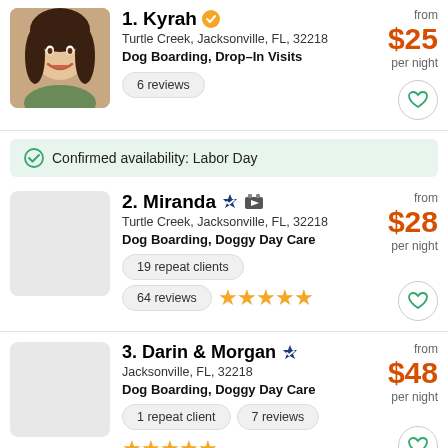[Figure (photo): Profile photo of Kyrah, a smiling woman with dark curly hair]
1. Kyrah
Turtle Creek, Jacksonville, FL, 32218
Dog Boarding, Drop-In Visits
6 reviews
from $25 per night
Confirmed availability: Labor Day
[Figure (photo): Profile photo placeholder for Miranda (light gray rectangle)]
2. Miranda
Turtle Creek, Jacksonville, FL, 32218
Dog Boarding, Doggy Day Care
19 repeat clients
64 reviews ★★★★★
from $28 per night
[Figure (photo): Profile photo placeholder for Darin & Morgan (light gray rectangle)]
3. Darin & Morgan
Jacksonville, FL, 32218
Dog Boarding, Doggy Day Care
1 repeat client
7 reviews ★★★★★
from $48 per night